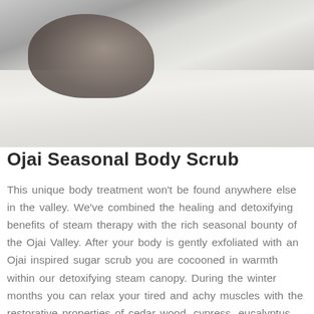[Figure (photo): A person lying back on white sheets or a massage table, with dark hair, in a spa/wellness setting.]
Ojai Seasonal Body Scrub
This unique body treatment won't be found anywhere else in the valley. We've combined the healing and detoxifying benefits of steam therapy with the rich seasonal bounty of the Ojai Valley. After your body is gently exfoliated with an Ojai inspired sugar scrub you are cocooned in warmth within our detoxifying steam canopy. During the winter months you can relax your tired and achy muscles with the restorative properties of cedar wood, cypress, eucalyptus and juniper berry– a soothing blend that's reminiscent of Ojai's rainy winter season. Spring fills the valley with the scent of orange blossoms and during this time we use a blend of pink grapefruit, orange, lemon and tangerine which will lift